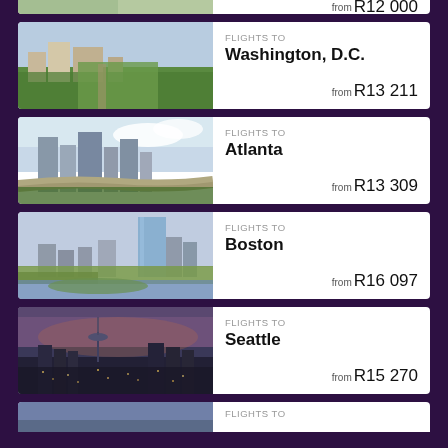[Figure (photo): Partial top card showing city skyline with price 'from R12 000' (partially visible)]
[Figure (photo): Aerial view of Washington D.C. with green parks]
FLIGHTS TO
Washington, D.C.
from R13 211
[Figure (photo): Atlanta city skyline with highways]
FLIGHTS TO
Atlanta
from R13 309
[Figure (photo): Boston city skyline with waterfront]
FLIGHTS TO
Boston
from R16 097
[Figure (photo): Seattle city skyline at dusk with Space Needle]
FLIGHTS TO
Seattle
from R15 270
[Figure (photo): Partial bottom card showing another city, FLIGHTS TO text partially visible]